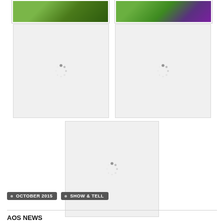[Figure (photo): Partial green plant/garden photo thumbnail, top-left, cropped]
[Figure (photo): Partial green plant with purple iris flower photo thumbnail, top-right, cropped]
[Figure (photo): Loading placeholder box with spinner, middle-left]
[Figure (photo): Loading placeholder box with spinner, middle-right]
[Figure (photo): Loading placeholder box with spinner, bottom center]
OCTOBER 2015
SHOW & TELL
AOS NEWS